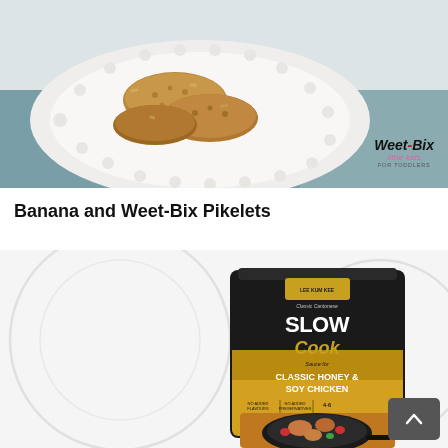[Figure (photo): Food photo showing Banana and Weet-Bix Pikelets on a white decorative plate with a scalloped edge, on a teal/mint tablecloth. Weet-Bix Little Kids logo in the bottom right corner.]
Banana and Weet-Bix Pikelets
[Figure (photo): Product shot of Lee Kum Kee Classic Chinese Slow Cook Sauce for Classic Honey & Soy Chicken packet, displayed on a white plate background. A back-to-top arrow button is shown in the bottom right.]